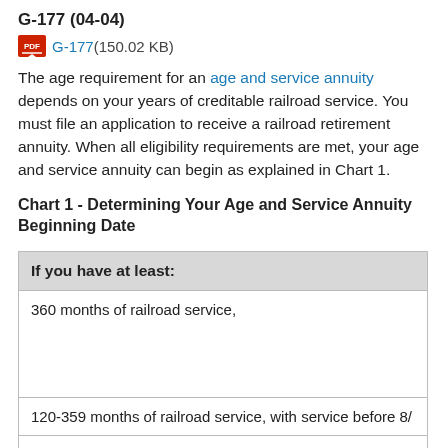G-177 (04-04)
G-177 (150.02 KB)
The age requirement for an age and service annuity depends on your years of creditable railroad service. You must file an application to receive a railroad retirement annuity. When all eligibility requirements are met, your age and service annuity can begin as explained in Chart 1.
Chart 1 - Determining Your Age and Service Annuity Beginning Date
| If you have at least: |
| --- |
| 360 months of railroad service, |
| 120-359 months of railroad service, with service before 8/... |
| 120-359 months of railroad service, without service before... |